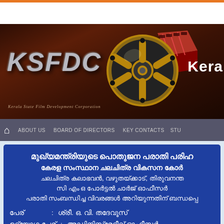[Figure (screenshot): KSFDC (Kerala State Film Development Corporation) website header banner with logo, film reel graphic, and navigation bar showing ABOUT US, BOARD OF DIRECTORS, KEY CONTACTS, STU...]
മുഖ്യമന്ത്രിയുടെ പൊതുജന പരാതി പരിഹ... കേരള സംസ്ഥാന ചലചിത്ര വികസന കോർ... ചലചിത്ര കലാഭവൻ, വഴുതയ്ക്കാട്, തിരുവനന്ത... സി എം ഒ പോർട്ടൽ ചാർജ് ഓഫീസർ... പരാതി സംബന്ധിച്ച വിവരങ്ങൾ അറിയുന്നതിന് ബന്ധപ്പെ...
പേര്: ശ്രീ. ഒ. വി. തദേവൂസ്
ഉദ്യോഗ പേര്: അഡ്മിനിസ്ട്രേറ്റീവ് ഓഫീസർ
ഫോൺ നം: മൊബൈൽ : 9037778034 ഓഫീസ് : 0471 23...